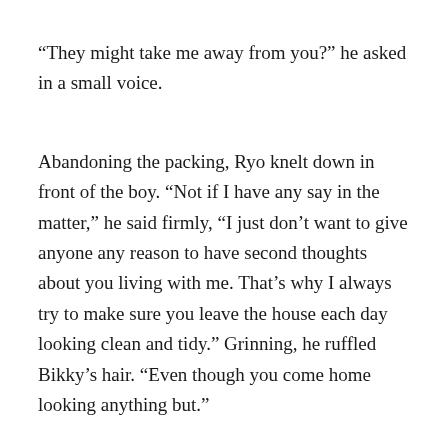“They might take me away from you?” he asked in a small voice.
Abandoning the packing, Ryo knelt down in front of the boy. “Not if I have any say in the matter,” he said firmly, “I just don’t want to give anyone any reason to have second thoughts about you living with me. That’s why I always try to make sure you leave the house each day looking clean and tidy.” Grinning, he ruffled Bikky’s hair. “Even though you come home looking anything but.”
“I can’t help it, school is messy!” The boy looked pleadingly as